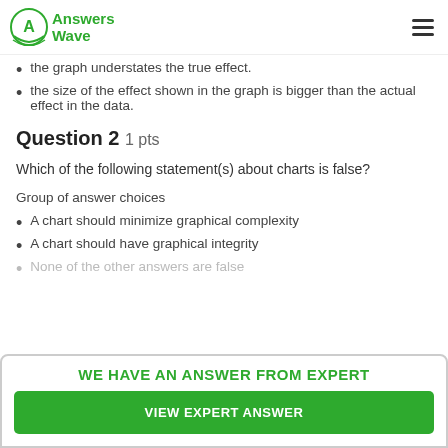Answers Wave
the graph understates the true effect.
the size of the effect shown in the graph is bigger than the actual effect in the data.
Question 2  1 pts
Which of the following statement(s) about charts is false?
Group of answer choices
A chart should minimize graphical complexity
A chart should have graphical integrity
None of the other answers are false
WE HAVE AN ANSWER FROM EXPERT
VIEW EXPERT ANSWER